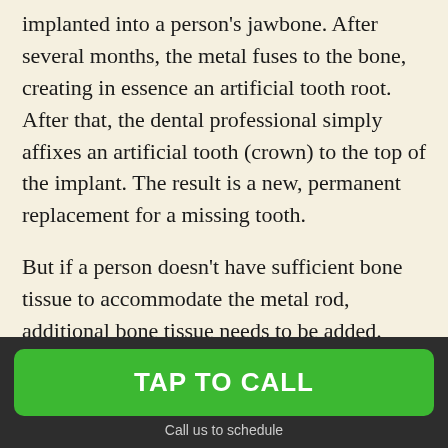implanted into a person's jawbone. After several months, the metal fuses to the bone, creating in essence an artificial tooth root. After that, the dental professional simply affixes an artificial tooth (crown) to the top of the implant. The result is a new, permanent replacement for a missing tooth.
But if a person doesn't have sufficient bone tissue to accommodate the metal rod, additional bone tissue needs to be added. Often, bone tissue comes from the patient's own body, but it can also come from a cow bone or a cadaver, for example. The sinus lift p... b... gently pushing the sinus membrane up and away
[Figure (other): Green 'TAP TO CALL' button overlaid on dark background with 'Call us to schedule' text below]